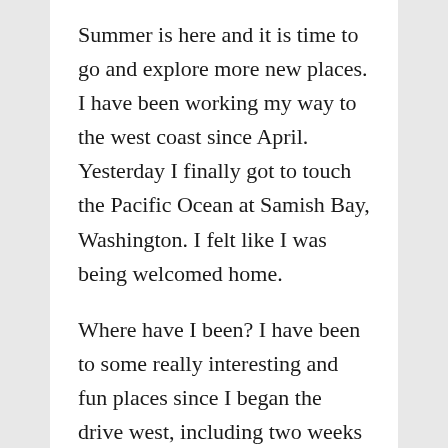Summer is here and it is time to go and explore more new places. I have been working my way to the west coast since April. Yesterday I finally got to touch the Pacific Ocean at Samish Bay, Washington. I felt like I was being welcomed home.
Where have I been? I have been to some really interesting and fun places since I began the drive west, including two weeks in Alaska (without Elsie or the Roadtrek). Cruising the Inside Passage on a